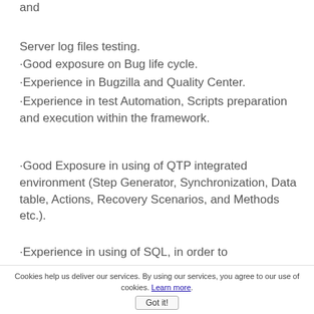and
Server log files testing.
·Good exposure on Bug life cycle.
·Experience in Bugzilla and Quality Center.
·Experience in test Automation, Scripts preparation and execution within the framework.
·Good Exposure in using of QTP integrated environment (Step Generator, Synchronization, Data table, Actions, Recovery Scenarios, and Methods etc.).
·Experience in using of SQL, in order to
Cookies help us deliver our services. By using our services, you agree to our use of cookies. Learn more.
Got it!